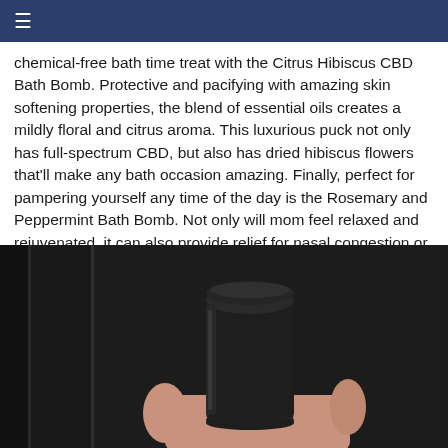≡
chemical-free bath time treat with the Citrus Hibiscus CBD Bath Bomb. Protective and pacifying with amazing skin softening properties, the blend of essential oils creates a mildly floral and citrus aroma. This luxurious puck not only has full-spectrum CBD, but also has dried hibiscus flowers that'll make any bath occasion amazing. Finally, perfect for pampering yourself any time of the day is the Rosemary and Peppermint Bath Bomb. Not only will mom feel relaxed and rejuvenated, it can also provide relief for nasal congestion or allergies courtesy of this bomb's essential oils blend.
[Figure (photo): A hand holding a small black cylindrical container/bottle against a dark background with vertical panel lines visible.]